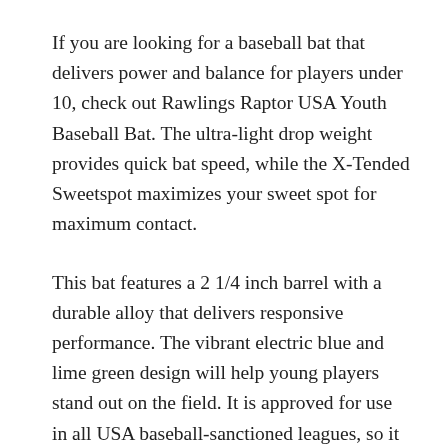If you are looking for a baseball bat that delivers power and balance for players under 10, check out Rawlings Raptor USA Youth Baseball Bat. The ultra-light drop weight provides quick bat speed, while the X-Tended Sweetspot maximizes your sweet spot for maximum contact.
This bat features a 2 1/4 inch barrel with a durable alloy that delivers responsive performance. The vibrant electric blue and lime green design will help young players stand out on the field. It is approved for use in all USA baseball-sanctioned leagues, so it will be perfect for playing at home or on the road.